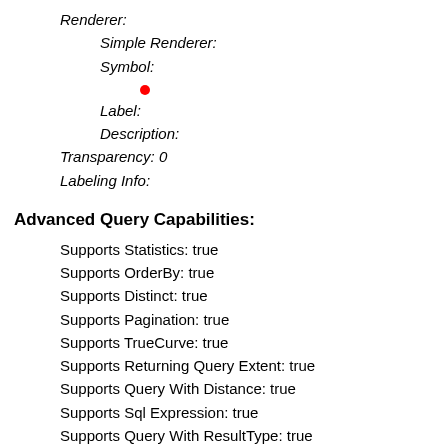Renderer:
Simple Renderer:
Symbol:
[red dot symbol]
Label:
Description:
Transparency: 0
Labeling Info:
Advanced Query Capabilities:
Supports Statistics: true
Supports OrderBy: true
Supports Distinct: true
Supports Pagination: true
Supports TrueCurve: true
Supports Returning Query Extent: true
Supports Query With Distance: true
Supports Sql Expression: true
Supports Query With ResultType: true
Supports Returning Geometry Centroid: false
HasZ: false
HasM: false
Has Attachments: false